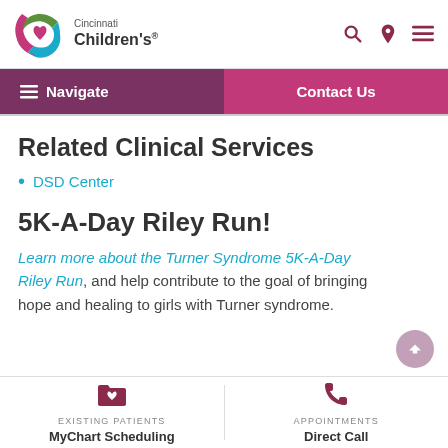Cincinnati Children's
Related Clinical Services
DSD Center
5K-A-Day Riley Run!
Learn more about the Turner Syndrome 5K-A-Day Riley Run, and help contribute to the goal of bringing hope and healing to girls with Turner syndrome.
EXISTING PATIENTS MyChart Scheduling | APPOINTMENTS Direct Call